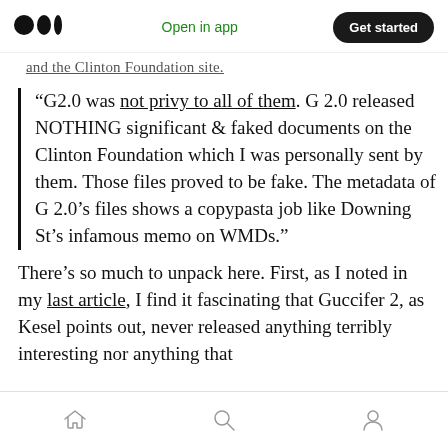Medium app navigation bar with logo, Open in app, and Get started button
...and the Clinton Foundation site.
“G2.0 was not privy to all of them. G 2.0 released NOTHING significant & faked documents on the Clinton Foundation which I was personally sent by them. Those files proved to be fake. The metadata of G 2.0’s files shows a copypasta job like Downing St’s infamous memo on WMDs.”
There’s so much to unpack here. First, as I noted in my last article, I find it fascinating that Guccifer 2, as Kesel points out, never released anything terribly interesting nor anything that
Bottom navigation bar with home, search, and profile icons